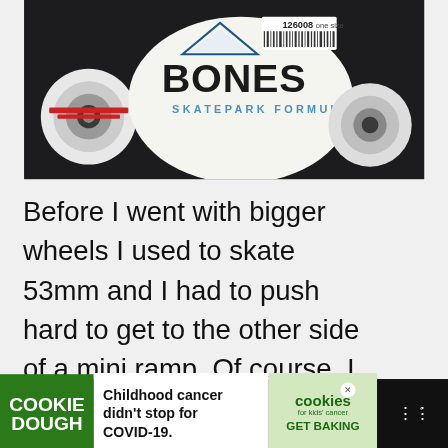[Figure (photo): Bones Skatepark Formula skateboard wheels product photo showing wheels and packaging with barcode 126008, 'one size' label]
Before I went with bigger wheels I used to skate 53mm and I had to push hard to get to the other side of a mini ramp. Of course, I didn't realize I was not doing myself a favor.
[Figure (photo): Advertisement banner: 'GO BEYOND SAYING THANK YOU' showing two people smiling, military-themed ad]
[Figure (photo): What's Next thumbnail: 'How to Choose...' article preview]
[Figure (screenshot): Bottom advertisement: Cookie Dough brand - 'Childhood cancer didn't stop for COVID-19.' with cookies for kids' cancer GET BAKING]